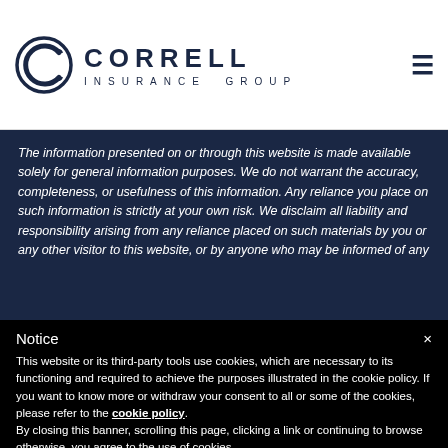[Figure (logo): Correll Insurance Group logo with circular C emblem and text]
The information presented on or through this website is made available solely for general information purposes. We do not warrant the accuracy, completeness, or usefulness of this information. Any reliance you place on such information is strictly at your own risk. We disclaim all liability and responsibility arising from any reliance placed on such materials by you or any other visitor to this website, or by anyone who may be informed of any
Notice
This website or its third-party tools use cookies, which are necessary to its functioning and required to achieve the purposes illustrated in the cookie policy. If you want to know more or withdraw your consent to all or some of the cookies, please refer to the cookie policy. By closing this banner, scrolling this page, clicking a link or continuing to browse otherwise, you agree to the use of cookies.